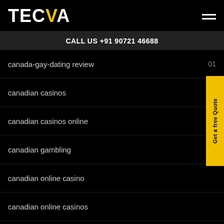[Figure (logo): TECVA logo with white text and yellow V, hamburger menu icon on right]
CALL US +91 90721 46688
canada-gay-dating review  01
canadian casinos  01
canadian casinos online  02
canadian gambling
canadian online casino
canadian online casinos
cape-coral escort  01
cape-coral escort index  01
Car  02